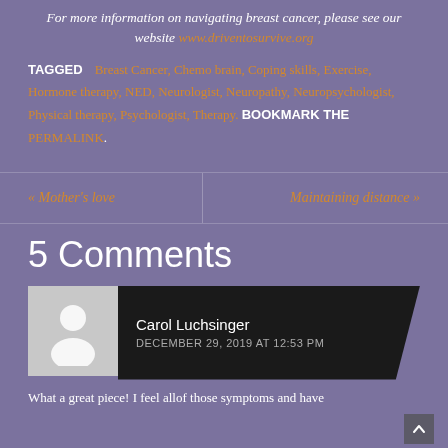For more information on navigating breast cancer, please see our website www.driventosurvive.org
TAGGED  Breast Cancer, Chemo brain, Coping skills, Exercise, Hormone therapy, NED, Neurologist, Neuropathy, Neuropsychologist, Physical therapy, Psychologist, Therapy. BOOKMARK THE PERMALINK.
« Mother's love
Maintaining distance »
5 Comments
Carol Luchsinger
DECEMBER 29, 2019 AT 12:53 PM
What a great piece! I feel allof those symptoms and have